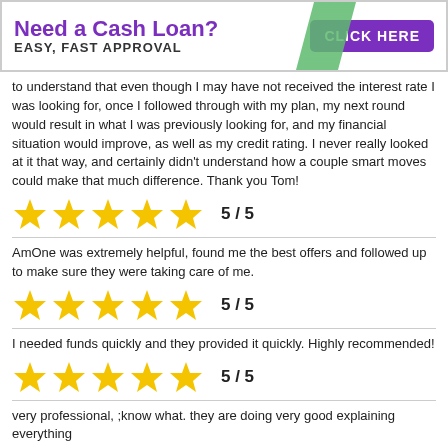[Figure (other): Advertisement banner: Need a Cash Loan? EASY, FAST APPROVAL — CLICK HERE button in purple]
to understand that even though I may have not received the interest rate I was looking for, once I followed through with my plan, my next round would result in what I was previously looking for, and my financial situation would improve, as well as my credit rating. I never really looked at it that way, and certainly didn't understand how a couple smart moves could make that much difference. Thank you Tom!
[Figure (other): 5 gold stars rating: 5 / 5]
AmOne was extremely helpful, found me the best offers and followed up to make sure they were taking care of me.
[Figure (other): 5 gold stars rating: 5 / 5]
I needed funds quickly and they provided it quickly. Highly recommended!
[Figure (other): 5 gold stars rating: 5 / 5]
very professional, ;know what. they are doing very good explaining everything
[Figure (other): 5 gold stars rating: 5 / 5]